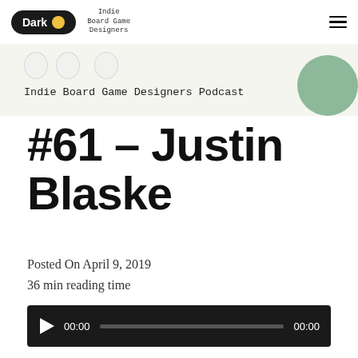Dark | Indie Board Game Designers
[Figure (illustration): Banner image for Indie Board Game Designers Podcast with illustrated characters and a green circle portrait]
Indie Board Game Designers Podcast
#61 – Justin Blaske
Posted On April 9, 2019
36 min reading time
[Figure (other): Audio player with play button, time display 00:00, progress bar, and end time 00:00]